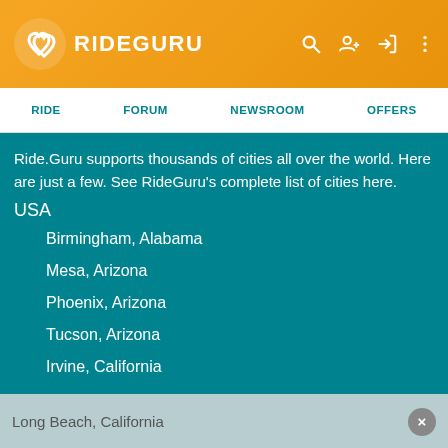RIDEGURU
RIDE  FORUM  NEWSROOM  OFFERS
Ride.Guru supports thousands of cities all over the world. Here are just a few. See RideGuru's complete list of cities here.
USA
Birmingham, Alabama
Mesa, Arizona
Phoenix, Arizona
Tucson, Arizona
Irvine, California
Long Beach, California